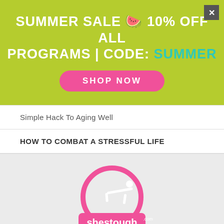[Figure (infographic): Green banner advertisement: SUMMER SALE 🍉 10% OFF ALL PROGRAMS | CODE: SUMMER with a pink SHOP NOW button and a close X button in top right corner]
Simple Hack To Aging Well
HOW TO COMBAT A STRESSFUL LIFE
[Figure (logo): ShesTough.com logo — pink circle with a woman in plank position, pink rounded rectangle with white text 'shestough.com' and 'LIFESTYLE FITNESS FOR HER' below]
[Figure (infographic): Social media icons row: Facebook, Twitter, YouTube, Pinterest, Instagram — all in grey. Pink chat/message app icon button on the left.]
FAQ
She Tough Bl...